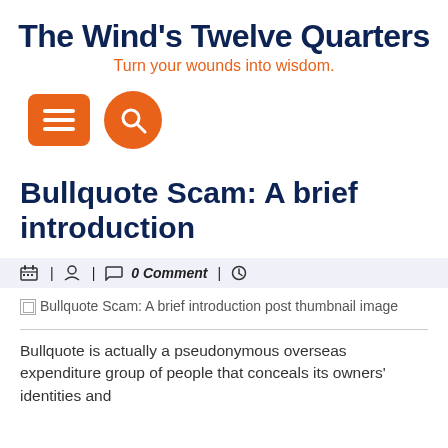The Wind's Twelve Quarters
Turn your wounds into wisdom.
[Figure (other): Navigation icons: orange rectangle menu button with three white horizontal lines, and orange circle search button with magnifying glass icon]
Bullquote Scam: A brief introduction
0 Comment
[Figure (photo): Bullquote Scam: A brief introduction post thumbnail image]
Bullquote is actually a pseudonymous overseas expenditure group of people that conceals its owners' identities and